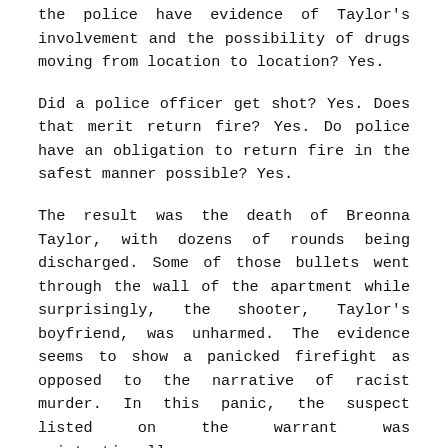the police have evidence of Taylor's involvement and the possibility of drugs moving from location to location? Yes.
Did a police officer get shot? Yes. Does that merit return fire? Yes. Do police have an obligation to return fire in the safest manner possible? Yes.
The result was the death of Breonna Taylor, with dozens of rounds being discharged. Some of those bullets went through the wall of the apartment while surprisingly, the shooter, Taylor's boyfriend, was unharmed. The evidence seems to show a panicked firefight as opposed to the narrative of racist murder. In this panic, the suspect listed on the warrant was unintentionally